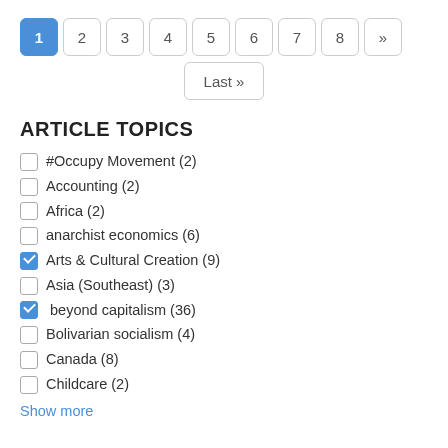1 2 3 4 5 6 7 8 >> Last »
ARTICLE TOPICS
#Occupy Movement (2)
Accounting (2)
Africa (2)
anarchist economics (6)
Arts & Cultural Creation (9)
Asia (Southeast) (3)
beyond capitalism (36)
Bolivarian socialism (4)
Canada (8)
Childcare (2)
Show more